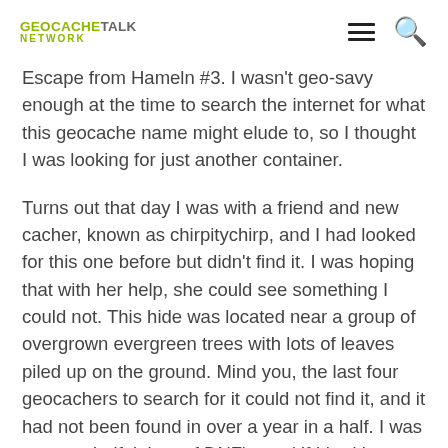GEOCACHETALK NETWORK
Escape from Hameln #3.  I wasn't geo-savy enough at the time to search the internet for what this geocache name might elude to, so I thought I was looking for just another container.
Turns out that day I was with a friend and new cacher, known as chirpitychirp, and I had looked for this one before but didn't find it.  I was hoping that with her help, she could see something I could not.  This hide was located near a group of overgrown evergreen trees with lots of leaves piled up on the ground.  Mind you, the last four geocachers to search for it could not find it, and it had not been found in over a year in a half.  I was not so mindful then of DNF's, and if I had been more experienced at the time, I probably